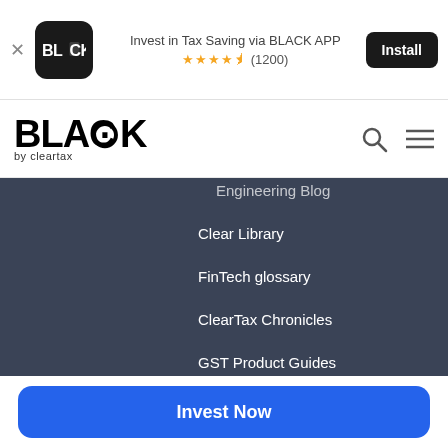[Figure (screenshot): App install banner with BLACK by ClearTax app icon, text 'Invest in Tax Saving via BLACK APP', star rating ★★★★½ (1200), and Install button]
[Figure (logo): BLACK by ClearTax logo with search and hamburger menu icons]
Engineering Blog
Clear Library
FinTech glossary
ClearTax Chronicles
GST Product Guides
Individuals
ITR Resources
ClearReturns
Income Tax efiling
ClearInvestment
Income Tax App android
Invest Now